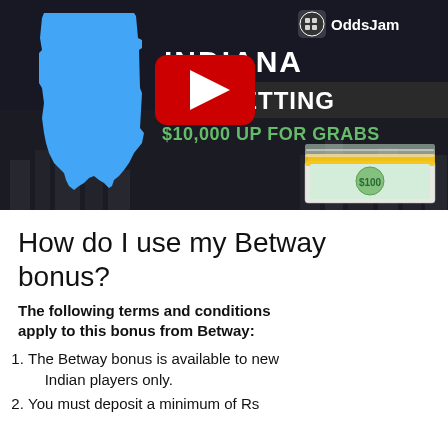[Figure (screenshot): YouTube video thumbnail showing Indiana Sports Betting with OddsJam logo, a blue silhouette of Indiana state, a red YouTube play button, the text 'INDIANA SPORTS BETTING $10,000 UP FOR GRABS', and stacks of cash against a dark city background.]
How do I use my Betway bonus?
The following terms and conditions apply to this bonus from Betway:
The Betway bonus is available to new Indian players only.
You must deposit a minimum of Rs